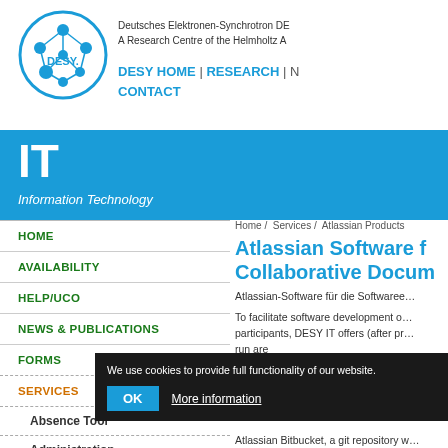[Figure (logo): DESY logo — circular logo with node-and-line network diagram and 'DESY.' text inside]
Deutsches Elektronen-Synchrotron DE
A Research Centre of the Helmholtz A
DESY HOME | RESEARCH | N
CONTACT
IT
Information Technology
HOME
AVAILABILITY
HELP/UCO
NEWS & PUBLICATIONS
FORMS
SERVICES
Absence Tool
Administration
Atlassian Products
Confluence
Home / Services / Atlassian Products
Atlassian Software f… Collaborative Docum…
Atlassian-Software für die Softwaree…
To facilitate software development o… participants, DESY IT offers (after pr… run are
Atlassian Bitbucket, a git repository w…
We use cookies to provide full functionality of our website.
OK   More information